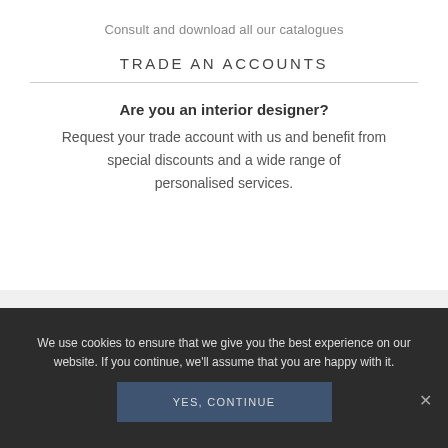Consult and download all our catalogues
TRADE AN ACCOUNTS
Are you an interior designer?
Request your trade account with us and benefit from
special discounts and a wide range of personalised services.
We use cookies to ensure that we give you the best experience on our website. If you continue, we'll assume that you are happy with it.
YES, CONTINUE